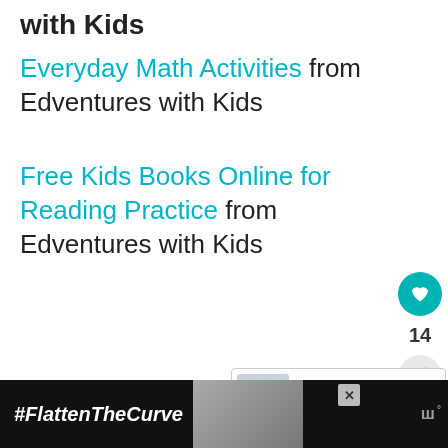with Kids
Everyday Math Activities from Edventures with Kids
Free Kids Books Online for Reading Practice from Edventures with Kids
[Figure (screenshot): Sidebar UI with heart button showing count 14 and share button]
[Figure (screenshot): What's Next panel showing School Lunch and Kids... thumbnail and label]
[Figure (screenshot): Bottom advertisement bar with #FlattenTheCurve text and faucet image]